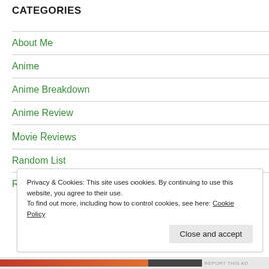CATEGORIES
About Me
Anime
Anime Breakdown
Anime Review
Movie Reviews
Random List
Random Rambling
Privacy & Cookies: This site uses cookies. By continuing to use this website, you agree to their use.
To find out more, including how to control cookies, see here: Cookie Policy
Close and accept